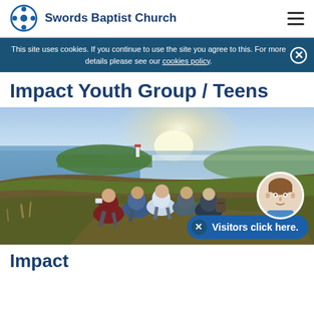Swords Baptist Church
This site uses cookies. If you continue to use the site you agree to this. For more details please see our cookies policy.
Impact Youth Group / Teens
[Figure (photo): Group of teenagers sitting on a coastal cliff overlooking the sea, viewed from behind, on a sunny day.]
Impact